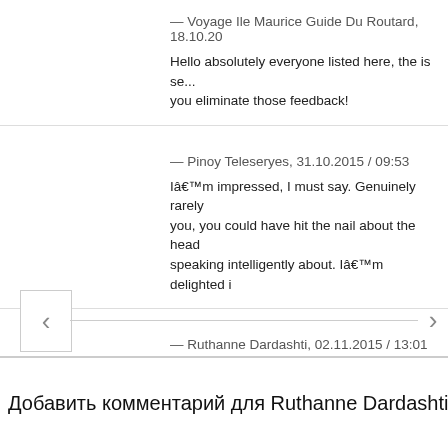— Voyage Ile Maurice Guide Du Routard, 18.10.20
Hello absolutely everyone listed here, the is se... you eliminate those feedback!
— Pinoy Teleseryes, 31.10.2015 / 09:53
Iâ€™m impressed, I must say. Genuinely rarely you, you could have hit the nail about the head speaking intelligently about. Iâ€™m delighted i
— Ruthanne Dardashti, 02.11.2015 / 13:01
What's up friends, its fantastic paragraph on the
Добавить комментарий для Ruthanne Dardashti
Отмен